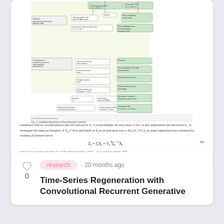[Figure (screenshot): Cropped view of a scientific paper page showing a flowchart diagram (Fig. 3 Detailed flowchart of the proposed method) and body text with a formula for Z_t = J_t X_t = V_t^T Sigma_t^{-1} X_t, and a caption below the figure.]
Yan Qin, et al. · share
research · 20 months ago
Time-Series Regeneration with Convolutional Recurrent Generative